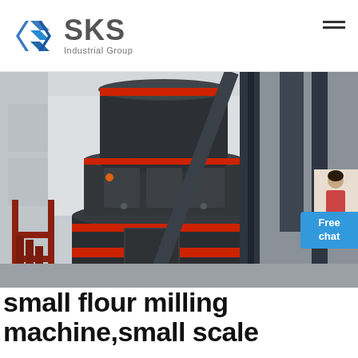[Figure (logo): SKS Industrial Group logo with blue diamond/chevron icon and grey text]
[Figure (photo): Large industrial grinding/milling machine (Raymond mill) in a factory setting, dark grey cylindrical body with red accent bands and red metal staircase structure]
small flour milling machine,small scale